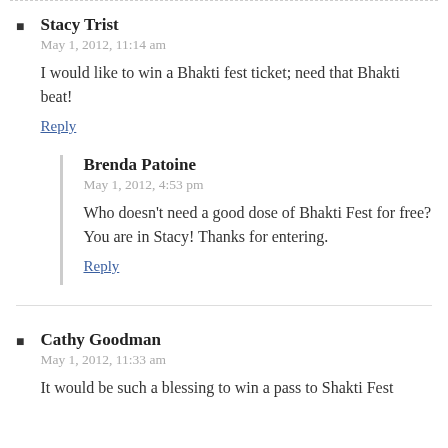Stacy Trist
May 1, 2012, 11:14 am
I would like to win a Bhakti fest ticket; need that Bhakti beat!
Reply
Brenda Patoine
May 1, 2012, 4:53 pm
Who doesn’t need a good dose of Bhakti Fest for free? You are in Stacy! Thanks for entering.
Reply
Cathy Goodman
May 1, 2012, 11:33 am
It would be such a blessing to win a pass to Shakti Fest